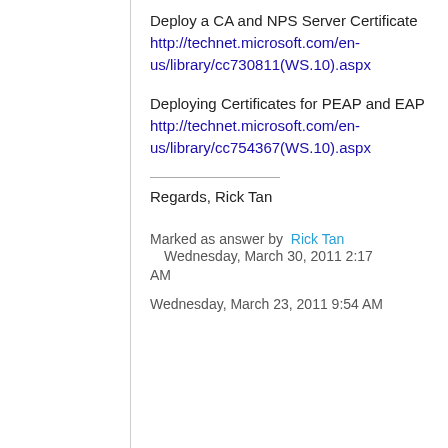Deploy a CA and NPS Server Certificate
http://technet.microsoft.com/en-us/library/cc730811(WS.10).aspx
Deploying Certificates for PEAP and EAP
http://technet.microsoft.com/en-us/library/cc754367(WS.10).aspx
Regards, Rick Tan
Marked as answer by  Rick Tan Wednesday, March 30, 2011 2:17 AM
Wednesday, March 23, 2011 9:54 AM